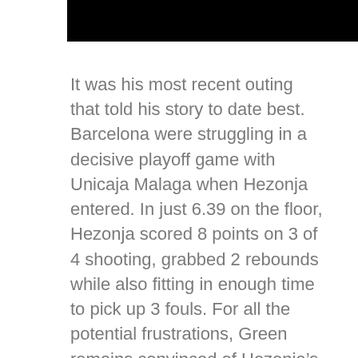[Figure (photo): Black redacted/header bar at top of page]
It was his most recent outing that told his story to date best. Barcelona were struggling in a decisive playoff game with Unicaja Malaga when Hezonja entered. In just 6.39 on the floor, Hezonja scored 8 points on 3 of 4 shooting, grabbed 2 rebounds while also fitting in enough time to pick up 3 fouls. For all the potential frustrations, Green remains convinced of Hezonja’s potential in the NBA.
“He’s a potential All-Star, a two-way monster on the wing who can rain threes, feast on fast break opportunities and